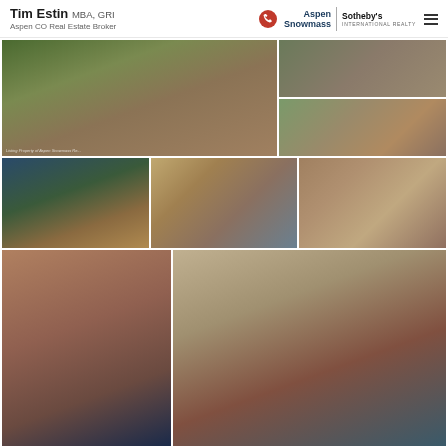Tim Estin MBA, GRI — Aspen CO Real Estate Broker — Aspen Snowmass Sotheby's International Realty
[Figure (photo): Aerial view of a large stone and wood luxury home surrounded by lush trees with red patio umbrellas and a pool]
[Figure (photo): Outdoor stone patio area of a luxury home with natural stone walls and landscaping]
[Figure (photo): Outdoor patio with red umbrella, cushioned seating, and outdoor kitchen area]
[Figure (photo): Balcony or deck with wooden railing overlooking mountain and forest landscape at dusk]
[Figure (photo): Interior great room with stone fireplace, chandelier, large windows, and luxury furnishings]
[Figure (photo): Gourmet kitchen with dark wood cabinetry, granite countertops, and high-end appliances]
[Figure (photo): Bedroom with fireplace, patterned rugs, and warm lighting]
[Figure (photo): Luxurious master bathroom with glass shower, soaking tub, mosaic tile, and mountain views through large windows]